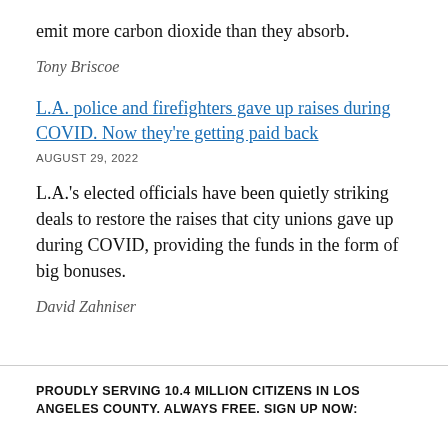emit more carbon dioxide than they absorb.
Tony Briscoe
L.A. police and firefighters gave up raises during COVID. Now they're getting paid back
AUGUST 29, 2022
L.A.'s elected officials have been quietly striking deals to restore the raises that city unions gave up during COVID, providing the funds in the form of big bonuses.
David Zahniser
PROUDLY SERVING 10.4 MILLION CITIZENS IN LOS ANGELES COUNTY. ALWAYS FREE. SIGN UP NOW: